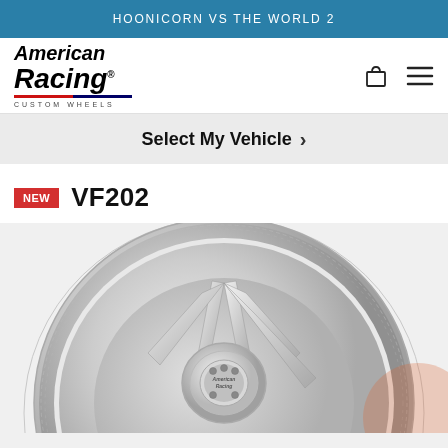HOONICORN VS THE WORLD 2
[Figure (logo): American Racing Custom Wheels logo with italic bold text and red/blue underline stripe]
Select My Vehicle
NEW VF202
[Figure (photo): Chrome/polished aluminum VF202 wheel with multi-spoke design and American Racing center cap, shown at an angle on light gray background]